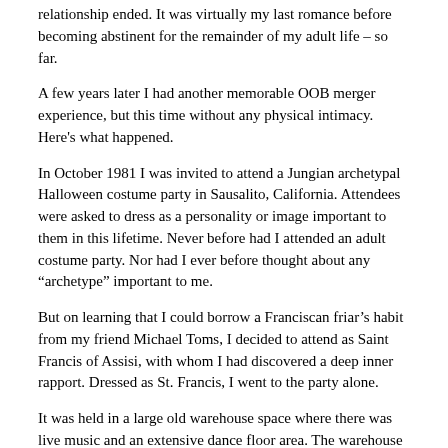relationship ended. It was virtually my last romance before becoming abstinent for the remainder of my adult life – so far.
A few years later I had another memorable OOB merger experience, but this time without any physical intimacy. Here's what happened.
In October 1981 I was invited to attend a Jungian archetypal Halloween costume party in Sausalito, California. Attendees were asked to dress as a personality or image important to them in this lifetime. Never before had I attended an adult costume party. Nor had I ever before thought about any “archetype” important to me.
But on learning that I could borrow a Franciscan friar’s habit from my friend Michael Toms, I decided to attend as Saint Francis of Assisi, with whom I had discovered a deep inner rapport. Dressed as St. Francis, I went to the party alone.
It was held in a large old warehouse space where there was live music and an extensive dance floor area. The warehouse was hot, noisy and crowded – not an ambience apparently conducive to spiritual experience or elevated awareness. But that's what happened to me.
I was standing alone on the dance floor when a woman stranger costumed as an angel invited me to dance with her. I gladly accepted. Then she told me that as a spiritual practice she was “toning”, and asked if I would like to “tone” with her as we danced, explaining that while dancing together we